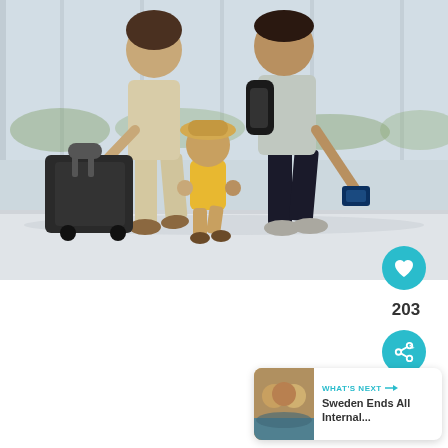[Figure (photo): A family of three walking through an airport terminal. An adult in beige pants pulling a dark rolling suitcase, a small child in a yellow outfit and straw hat being held by both adults, and another adult in dark pants holding a passport. Large glass windows in the background.]
[Figure (screenshot): UI overlay elements: a teal heart/like button showing '203', a teal share button, and a 'What's Next' card showing a thumbnail and text 'Sweden Ends All Internal...']